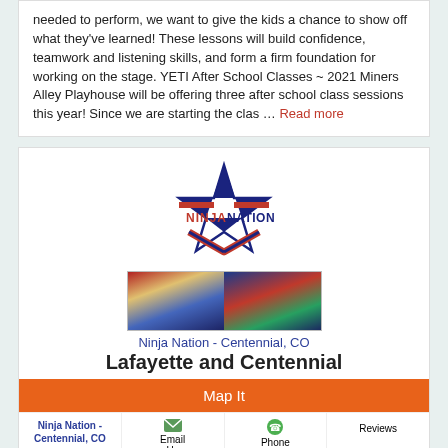needed to perform, we want to give the kids a chance to show off what they've learned! These lessons will build confidence, teamwork and listening skills, and form a firm foundation for working on the stage. YETI After School Classes ~ 2021 Miners Alley Playhouse will be offering three after school class sessions this year! Since we are starting the clas … Read more
[Figure (logo): Ninja Nation logo with star and chevron design in blue and red]
[Figure (photo): Two photos of Ninja Nation gym facility showing obstacle courses and participants]
Ninja Nation - Centennial, CO
Lafayette and Centennial
Map It
| Ninja Nation - Centennial, CO | Email Us | Phone | Reviews |
| --- | --- | --- | --- |